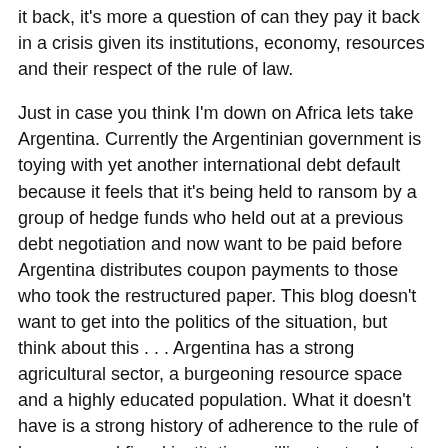it back, it's more a question of can they pay it back in a crisis given its institutions, economy, resources and their respect of the rule of law.
Just in case you think I'm down on Africa lets take Argentina. Currently the Argentinian government is toying with yet another international debt default because it feels that it's being held to ransom by a group of hedge funds who held out at a previous debt negotiation and now want to be paid before Argentina distributes coupon payments to those who took the restructured paper. This blog doesn't want to get into the politics of the situation, but think about this . . . Argentina has a strong agricultural sector, a burgeoning resource space and a highly educated population. What it doesn't have is a strong history of adherence to the rule of law or sound fiscal institutions willing to stand up to populist governments with balance sheet facts. It's a case of you reap what you sow as an investor and to be frank maybe African countries if given as many chances as Argentina deserve the current demand they have for their international bonds.
Back to the Senegal bonds. At 6.25% coupon for 10 years: